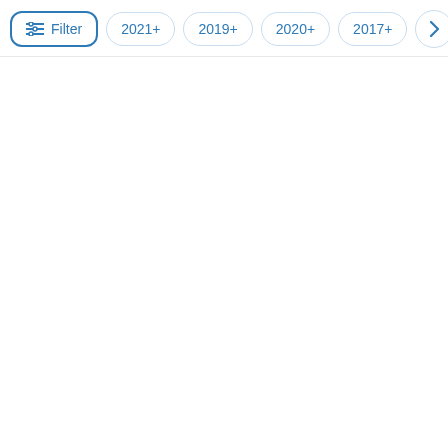[Figure (screenshot): A filter toolbar UI with a 'Filter' button with icon (highlighted with blue border) followed by rounded pill/chip buttons labeled '2021+', '2019+', '2020+', '2017+', and a partially visible arrow navigation button pointing right. Below the toolbar is empty white content area.]